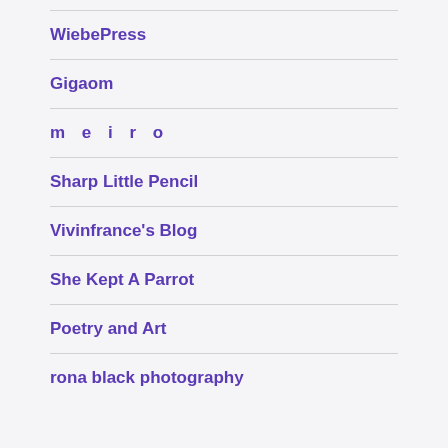WiebePress
Gigaom
m e i r o
Sharp Little Pencil
Vivinfrance's Blog
She Kept A Parrot
Poetry and Art
rona black photography